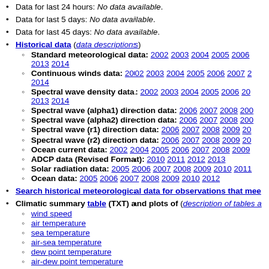Data for last 24 hours: No data available.
Data for last 5 days: No data available.
Data for last 45 days: No data available.
Historical data (data descriptions) — Standard meteorological data: 2002 2003 2004 2005 2006 2013 2014 — Continuous winds data: 2002 2003 2004 2005 2006 2007 2014 — Spectral wave density data: 2002 2003 2004 2005 2006 2013 2014 — Spectral wave (alpha1) direction data: 2006 2007 2008 — Spectral wave (alpha2) direction data: 2006 2007 2008 — Spectral wave (r1) direction data: 2006 2007 2008 2009 — Spectral wave (r2) direction data: 2006 2007 2008 2009 — Ocean current data: 2002 2004 2005 2006 2007 2008 2009 — ADCP data (Revised Format): 2010 2011 2012 2013 — Solar radiation data: 2005 2006 2007 2008 2009 2010 2011 — Ocean data: 2005 2006 2007 2008 2009 2010 2012
Search historical meteorological data for observations that mee
Climatic summary table (TXT) and plots of (description of tables a — wind speed — air temperature — sea temperature — air-sea temperature — dew point temperature — air-dew point temperature